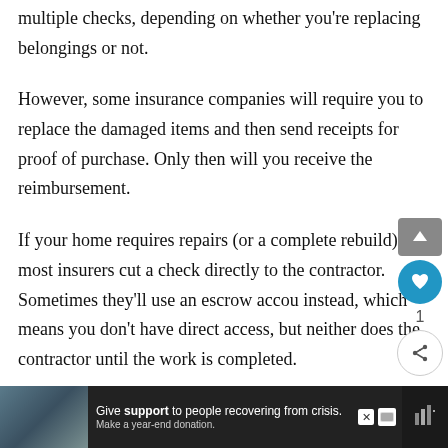multiple checks, depending on whether you're replacing belongings or not.
However, some insurance companies will require you to replace the damaged items and then send receipts for proof of purchase. Only then will you receive the reimbursement.
If your home requires repairs (or a complete rebuild), most insurers cut a check directly to the contractor. Sometimes they'll use an escrow account instead, which means you don't have direct access, but neither does the contractor until the work is completed.
[Figure (screenshot): Advertisement banner at bottom of page: dark background with photo of people, text 'Give support to people recovering from crisis. Make a year-end donation.' with close button and charity logo.]